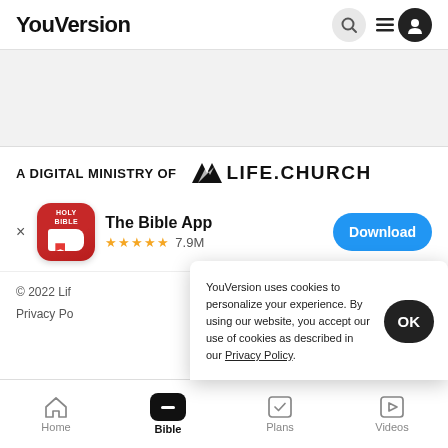YouVersion
A DIGITAL MINISTRY OF LIFE.CHURCH
[Figure (screenshot): The Bible App icon and download banner showing Holy Bible app icon, 5 gold stars rating, 7.9M reviews, and blue Download button]
YouVersion uses cookies to personalize your experience. By using our website, you accept our use of cookies as described in our Privacy Policy.
© 2022 Life.Church
Privacy Policy
Home | Bible | Plans | Videos